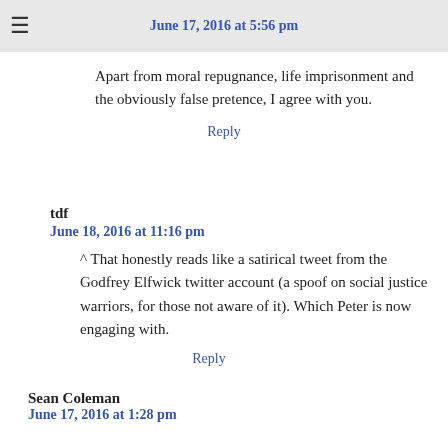June 17, 2016 at 5:56 pm
Apart from moral repugnance, life imprisonment and the obviously false pretence, I agree with you.
Reply
tdf
June 18, 2016 at 11:16 pm
^ That honestly reads like a satirical tweet from the Godfrey Elfwick twitter account (a spoof on social justice warriors, for those not aware of it). Which Peter is now engaging with.
Reply
Sean Coleman
June 17, 2016 at 1:28 pm